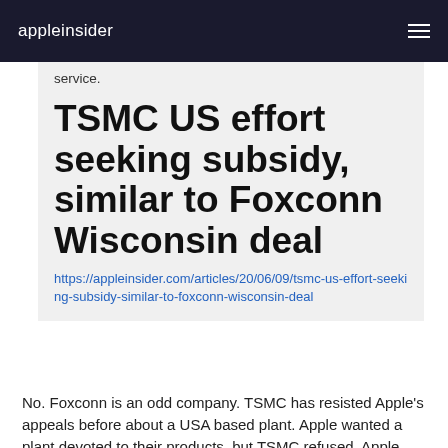appleinsider
service.
TSMC US effort seeking subsidy, similar to Foxconn Wisconsin deal
https://appleinsider.com/articles/20/06/09/tsmc-us-effort-seeking-subsidy-similar-to-foxconn-wisconsin-deal
No. Foxconn is an odd company. TSMC has resisted Apple's appeals before about a USA based plant. Apple wanted a plant devoted to their products, but TSMC refused. Apple was willing to put up half the funds to build, and run it. But a lot of companies don't want to give up any of their independence